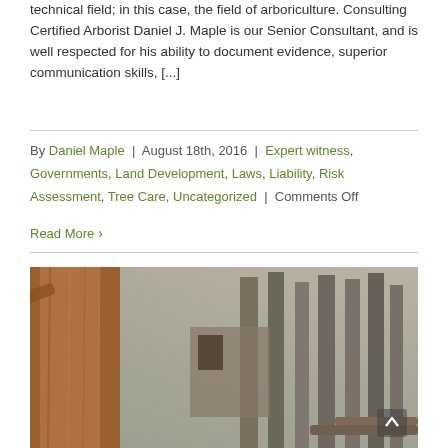technical field; in this case, the field of arboriculture. Consulting Certified Arborist Daniel J. Maple is our Senior Consultant, and is well respected for his ability to document evidence, superior communication skills, [...]
By Daniel Maple | August 18th, 2016 | Expert witness, Governments, Land Development, Laws, Liability, Risk Assessment, Tree Care, Uncategorized | Comments Off
Read More >
[Figure (photo): Photograph of a large tree trunk in a smoky forest setting with a stone building partially visible in the background. Tall pine trees are visible through haze.]